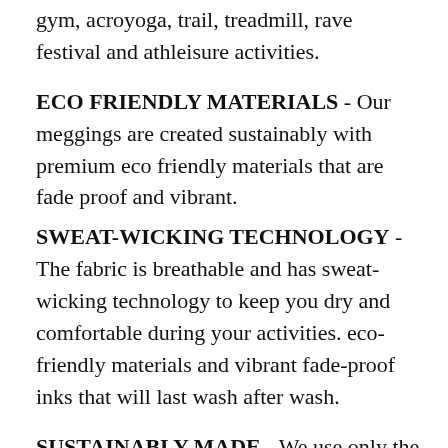gym, acroyoga, trail, treadmill, rave festival and athleisure activities.
ECO FRIENDLY MATERIALS - Our meggings are created sustainably with premium eco friendly materials that are fade proof and vibrant.
SWEAT-WICKING TECHNOLOGY - The fabric is breathable and has sweat-wicking technology to keep you dry and comfortable during your activities. eco-friendly materials and vibrant fade-proof inks that will last wash after wash.
SUSTAINABLY MADE - We use only the highest quality materials in our meggings, ensuring that they're not only comfortable and supportive but also